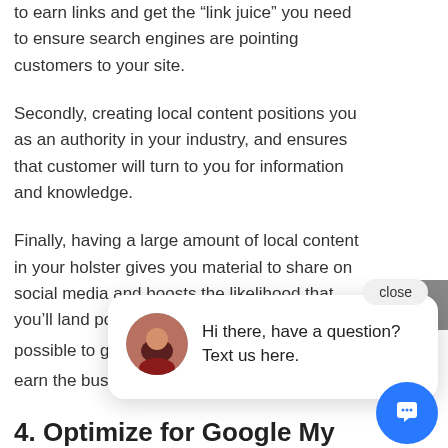to earn links and get the “link juice” you need to ensure search engines are pointing customers to your site.
Secondly, creating local content positions you as an authority in your industry, and ensures that customer will turn to you for information and knowledge.
Finally, having a large amount of local content in your holster gives you material to share on social media and boosts the likelihood that you’ll land positive press... possible to gr... earn the busi...
4. Optimize for Google My Business